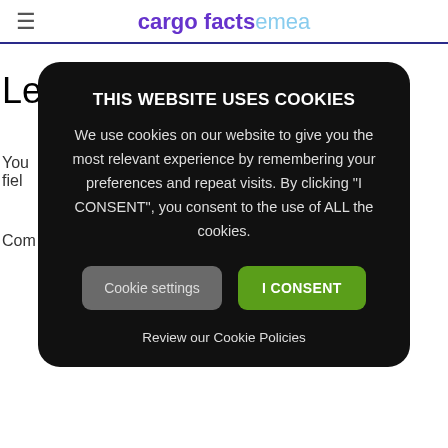cargo facts emea
Leave a Comment
You
fiel
Com
THIS WEBSITE USES COOKIES

We use cookies on our website to give you the most relevant experience by remembering your preferences and repeat visits. By clicking "I CONSENT", you consent to the use of ALL the cookies.

Cookie settings   I CONSENT

Review our Cookie Policies